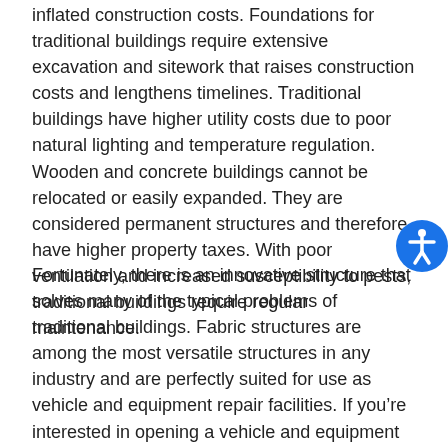inflated construction costs. Foundations for traditional buildings require extensive excavation and sitework that raises construction costs and lengthens timelines. Traditional buildings have higher utility costs due to poor natural lighting and temperature regulation. Wooden and concrete buildings cannot be relocated or easily expanded. They are considered permanent structures and therefore have higher property taxes. With poor ventilation and increased susceptibility to pests, traditional buildings require regular maintenance.
Fortunately, there is an innovative structure that solves many of the typical problems of traditional buildings. Fabric structures are among the most versatile structures in any industry and are perfectly suited for use as vehicle and equipment repair facilities. If you're interested in opening a vehicle and equipment repair center, read below to see why a fabric structure is the right choice.